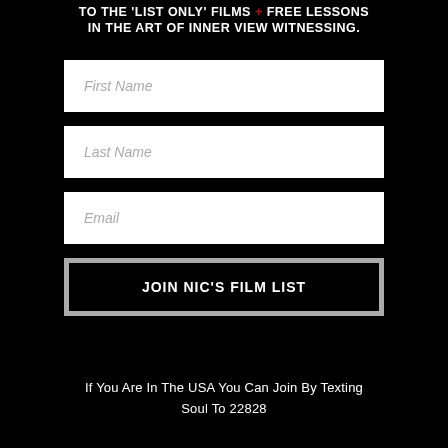TO THE 'LIST ONLY' FILMS + FREE LESSONS IN THE ART OF INNER VIEW WITNESSING.
First Name
Last Name
Email
JOIN NIC'S FILM LIST
If You Are In The USA You Can Join By Texting Soul To 22828